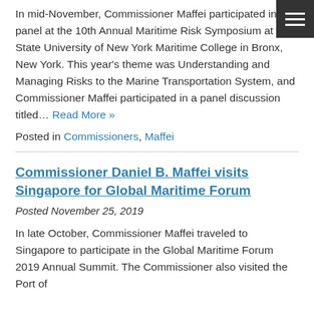In mid-November, Commissioner Maffei participated in a panel at the 10th Annual Maritime Risk Symposium at the State University of New York Maritime College in Bronx, New York. This year's theme was Understanding and Managing Risks to the Marine Transportation System, and Commissioner Maffei participated in a panel discussion titled… Read More »
Posted in Commissioners, Maffei
Commissioner Daniel B. Maffei visits Singapore for Global Maritime Forum
Posted November 25, 2019
In late October, Commissioner Maffei traveled to Singapore to participate in the Global Maritime Forum 2019 Annual Summit. The Commissioner also visited the Port of